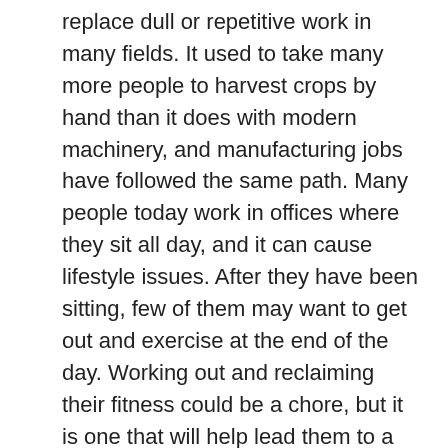replace dull or repetitive work in many fields. It used to take many more people to harvest crops by hand than it does with modern machinery, and manufacturing jobs have followed the same path. Many people today work in offices where they sit all day, and it can cause lifestyle issues. After they have been sitting, few of them may want to get out and exercise at the end of the day. Working out and reclaiming their fitness could be a chore, but it is one that will help lead them to a healthier lifestyle and better energy levels.
Acquiring Bad Habits
Lifestyles today can impact people in a negative way when it comes to fitness. They may find they are acquiring bad habits such as spending too